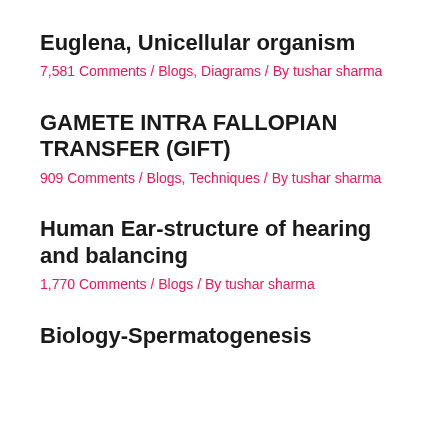Euglena, Unicellular organism
7,581 Comments / Blogs, Diagrams / By tushar sharma
GAMETE INTRA FALLOPIAN TRANSFER (GIFT)
909 Comments / Blogs, Techniques / By tushar sharma
Human Ear-structure of hearing and balancing
1,770 Comments / Blogs / By tushar sharma
Biology-Spermatogenesis